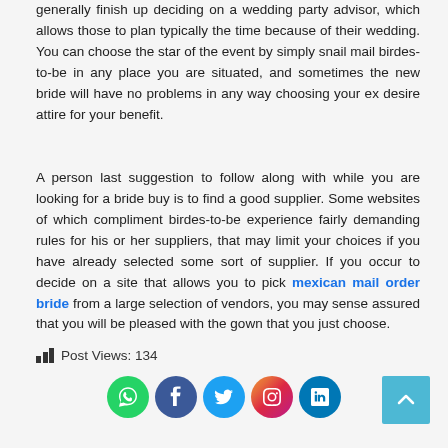generally finish up deciding on a wedding party advisor, which allows those to plan typically the time because of their wedding. You can choose the star of the event by simply snail mail birdes-to-be in any place you are situated, and sometimes the new bride will have no problems in any way choosing your ex desire attire for your benefit.
A person last suggestion to follow along with while you are looking for a bride buy is to find a good supplier. Some websites of which compliment birdes-to-be experience fairly demanding rules for his or her suppliers, that may limit your choices if you have already selected some sort of supplier. If you occur to decide on a site that allows you to pick mexican mail order bride from a large selection of vendors, you may sense assured that you will be pleased with the gown that you just choose.
Post Views: 134
[Figure (other): Social media icons: WhatsApp, Facebook, Twitter, Instagram, LinkedIn]